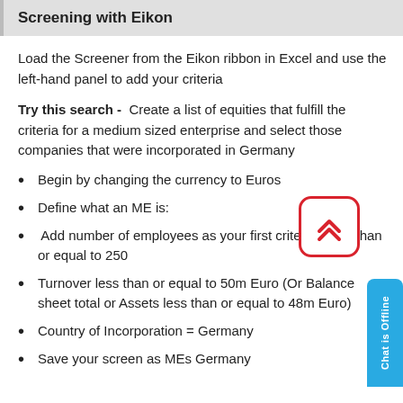Screening with Eikon
Load the Screener from the Eikon ribbon in Excel and use the left-hand panel to add your criteria
Try this search - Create a list of equities that fulfill the criteria for a medium sized enterprise and select those companies that were incorporated in Germany
Begin by changing the currency to Euros
Define what an ME is:
Add number of employees as your first criteria - less than or equal to 250
Turnover less than or equal to 50m Euro (Or Balance sheet total or Assets less than or equal to 48m Euro)
Country of Incorporation = Germany
Save your screen as MEs Germany